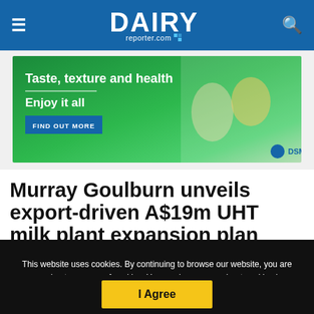DAIRY reporter.com
[Figure (illustration): DSM advertisement banner with green background showing dairy and food products. Text: 'Taste, texture and health', 'Enjoy it all', 'FIND OUT MORE' button, DSM logo.]
Murray Goulburn unveils export-driven A$19m UHT milk plant expansion plan
This website uses cookies. By continuing to browse our website, you are agreeing to our use of cookies. You can learn more about cookies by visiting our privacy & cookies policy page.
I Agree